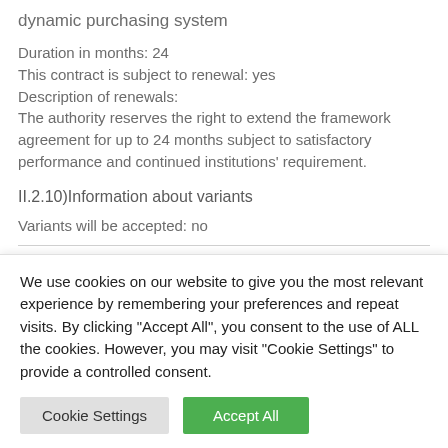dynamic purchasing system
Duration in months: 24
This contract is subject to renewal: yes
Description of renewals:
The authority reserves the right to extend the framework agreement for up to 24 months subject to satisfactory performance and continued institutions' requirement.
II.2.10)Information about variants
Variants will be accepted: no
We use cookies on our website to give you the most relevant experience by remembering your preferences and repeat visits. By clicking "Accept All", you consent to the use of ALL the cookies. However, you may visit "Cookie Settings" to provide a controlled consent.